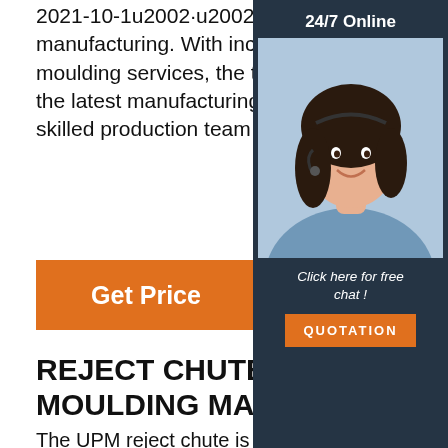2021-10-1u2002·u2002Investing in the future of UK manufacturing. With increased demand for our plastic injection moulding services, the time has never been better to invest in the latest manufacturing technology. That's why our highly skilled production team have welco...
Get Price
[Figure (other): Sidebar widget with dark background showing '24/7 Online' text, a photo of a female customer service agent wearing a headset, 'Click here for free chat!' text, and an orange QUOTATION button.]
REJECT CHUTE FOR INJECTION MOULDING MACHINE -
The UPM reject chute is mounted below the tool of an injection moulding machine and above a twin lane belt conveyor to separate the reject, sampling and good parts. During normal operation this unit conveys both reject and good parts to the machine non-operator …